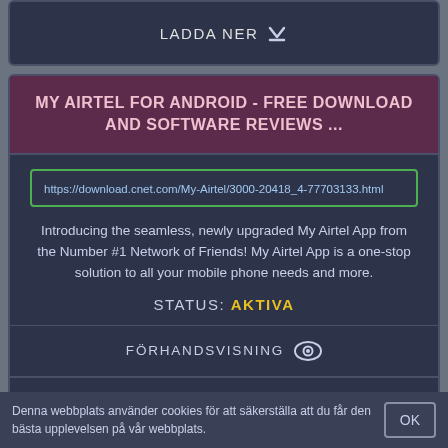LADDA NER ↓
MY AIRTEL FOR ANDROID - FREE DOWNLOAD AND SOFTWARE REVIEWS ...
https://download.cnet.com/My-Airtel/3000-20418_4-77703133.html
Introducing the seamless, newly upgraded My Airtel App from the Number #1 Network of Friends! My Airtel App is a one-stop solution to all your mobile phone needs and more.
STATUS: AKTIVA
FÖRHANDSVISNING
LADDA NER ↓
Denna webbplats använder cookies för att säkerställa att du får den bästa upplevelsen på vår webbplats.